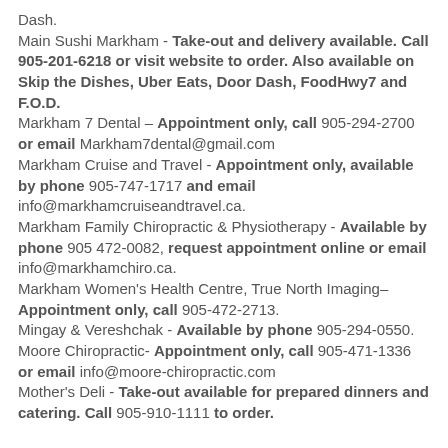Dash.
Main Sushi Markham - Take-out and delivery available. Call 905-201-6218 or visit website to order. Also available on Skip the Dishes, Uber Eats, Door Dash, FoodHwy7 and F.O.D.
Markham 7 Dental – Appointment only, call 905-294-2700 or email Markham7dental@gmail.com
Markham Cruise and Travel - Appointment only, available by phone 905-747-1717 and email info@markhamcruiseandtravel.ca.
Markham Family Chiropractic & Physiotherapy - Available by phone 905 472-0082, request appointment online or email info@markhamchiro.ca.
Markham Women's Health Centre, True North Imaging– Appointment only, call 905-472-2713.
Mingay & Vereshchak - Available by phone 905-294-0550.
Moore Chiropractic- Appointment only, call 905-471-1336 or email info@moore-chiropractic.com
Mother's Deli - Take-out available for prepared dinners and catering. Call 905-910-1111 to order.